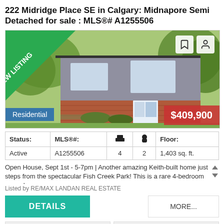222 Midridge Place SE in Calgary: Midnapore Semi Detached for sale : MLS®# A1255506
[Figure (photo): Exterior photo of a semi-detached home with brick lower level and grey upper siding, surrounded by trees. Has a 'NEW LISTING' green banner in top-left corner, 'Residential' blue tag bottom-left, '$409,900' red price tag bottom-right, and two icon buttons top-right.]
| Status: | MLS®#: | 🛏 | 🛁 | Floor: |
| --- | --- | --- | --- | --- |
| Active | A1255506 | 4 | 2 | 1,403 sq. ft. |
Open House, Sept 1st - 5-7pm | Another amazing Keith-built home just steps from the spectacular Fish Creek Park! This is a rare 4-bedroom up and
Listed by RE/MAX LANDAN REAL ESTATE
DETAILS
MORE...
REALTOR TANJA VAN DE KAMP
REAL ESTATE PROFESSIONALS